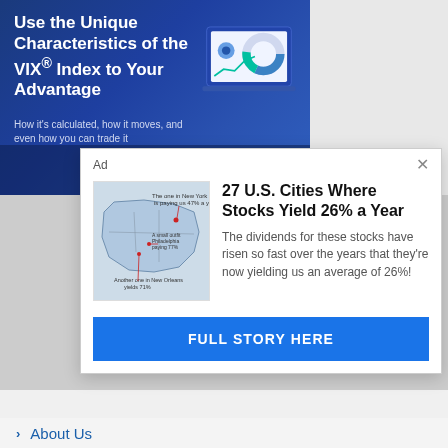[Figure (illustration): Banner advertisement with dark blue gradient background. Large bold white text: 'Use the Unique Characteristics of the VIX® Index to Your Advantage'. Subtitle in lighter blue: 'How it's calculated, how it moves, and even how you can trade it'. Right side shows a laptop/tablet device with chart graphics (donut chart and line chart) and a gear icon.]
[Figure (screenshot): Pop-up advertisement overlay on white card with drop shadow. Header says 'Ad' with a close X button. Left side shows a US map image with cities and yield annotations. Right side headline: '27 U.S. Cities Where Stocks Yield 26% a Year'. Body text: 'The dividends for these stocks have risen so fast over the years that they're now yielding us an average of 26%!'. Blue button at bottom: 'FULL STORY HERE'.]
Ad
27 U.S. Cities Where Stocks Yield 26% a Year
The dividends for these stocks have risen so fast over the years that they're now yielding us an average of 26%!
FULL STORY HERE
Dynami
About Us
Advertise With Us
Contact Us
Contributors
Guest Post Policy